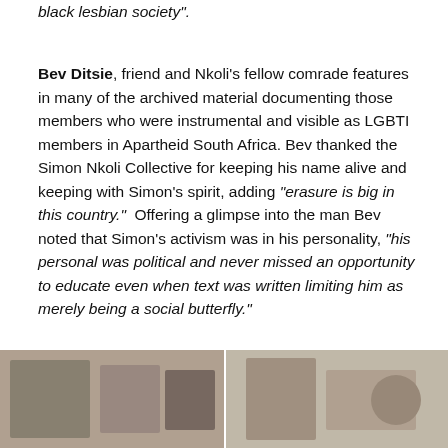black lesbian society”.
Bev Ditsie, friend and Nkoli’s fellow comrade features in many of the archived material documenting those members who were instrumental and visible as LGBTI members in Apartheid South Africa. Bev thanked the Simon Nkoli Collective for keeping his name alive and keeping with Simon’s spirit, adding “erasure is big in this country.”  Offering a glimpse into the man Bev noted that Simon’s activism was in his personality, “his personal was political and never missed an opportunity to educate even when text was written limiting him as merely being a social butterfly.”
[Figure (photo): Two photographs side by side at the bottom of the page, partially cropped. Left photo and right photo show people or scenes related to the document content.]